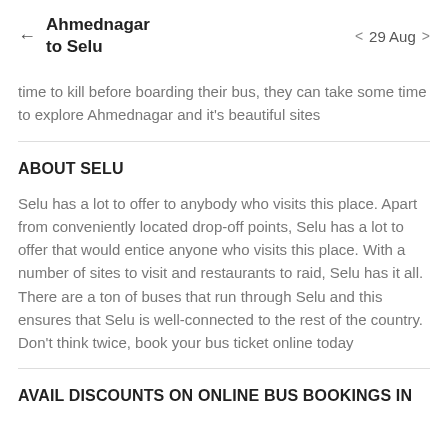Ahmednagar to Selu   ← >  29 Aug  >
time to kill before boarding their bus, they can take some time to explore Ahmednagar and it's beautiful sites
ABOUT SELU
Selu has a lot to offer to anybody who visits this place. Apart from conveniently located drop-off points, Selu has a lot to offer that would entice anyone who visits this place. With a number of sites to visit and restaurants to raid, Selu has it all. There are a ton of buses that run through Selu and this ensures that Selu is well-connected to the rest of the country. Don't think twice, book your bus ticket online today
AVAIL DISCOUNTS ON ONLINE BUS BOOKINGS IN